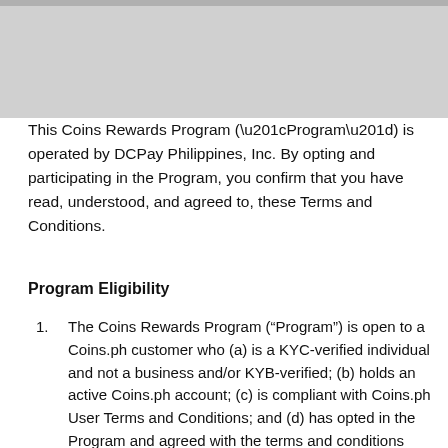This Coins Rewards Program (“Program”) is operated by DCPay Philippines, Inc. By opting and participating in the Program, you confirm that you have read, understood, and agreed to, these Terms and Conditions.
Program Eligibility
The Coins Rewards Program (“Program”) is open to a Coins.ph customer who (a) is a KYC-verified individual and not a business and/or KYB-verified; (b) holds an active Coins.ph account; (c) is compliant with Coins.ph User Terms and Conditions; and (d) has opted in the Program and agreed with the terms and conditions thereof (“Eligible Participant”).
Only Qualified Transactions as defined herein, which